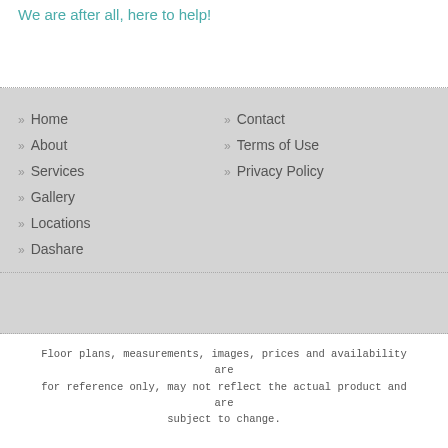We are after all, here to help!
» Home
» About
» Services
» Gallery
» Locations
» Dashare
» Contact
» Terms of Use
» Privacy Policy
Floor plans, measurements, images, prices and availability are for reference only, may not reflect the actual product and are subject to change.